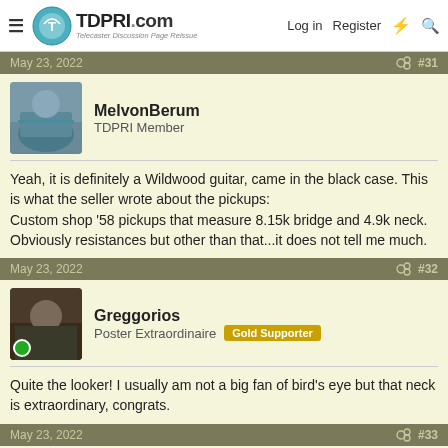TDPRI.com — Telecaster Discussion Page Reissue | Log in | Register
May 23, 2022  #31
MelvonBerum
TDPRI Member
Yeah, it is definitely a Wildwood guitar, came in the black case. This is what the seller wrote about the pickups:
Custom shop '58 pickups that measure 8.15k bridge and 4.9k neck. Obviously resistances but other than that...it does not tell me much.
May 23, 2022  #32
Greggorios
Poster Extraordinaire  Gold Supporter
Quite the looker! I usually am not a big fan of bird's eye but that neck is extraordinary, congrats.
May 23, 2022  #33